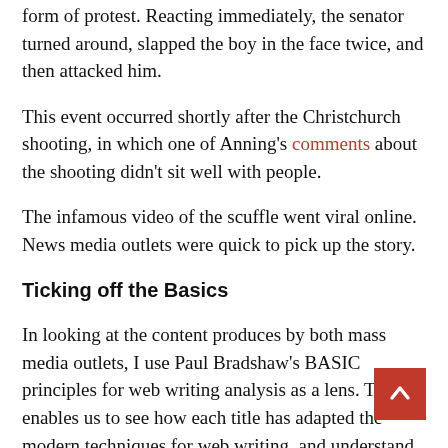form of protest. Reacting immediately, the senator turned around, slapped the boy in the face twice, and then attacked him.
This event occurred shortly after the Christchurch shooting, in which one of Anning's comments about the shooting didn't sit well with people.
The infamous video of the scuffle went viral online. News media outlets were quick to pick up the story.
Ticking off the Basics
In looking at the content produces by both mass media outlets, I use Paul Bradshaw's BASIC principles for web writing analysis as a lens. This enables us to see how each title has adapted the modern techniques for web writing, and understand where they fall short or become successful in the process.
Buzzfeed vs. New York Times